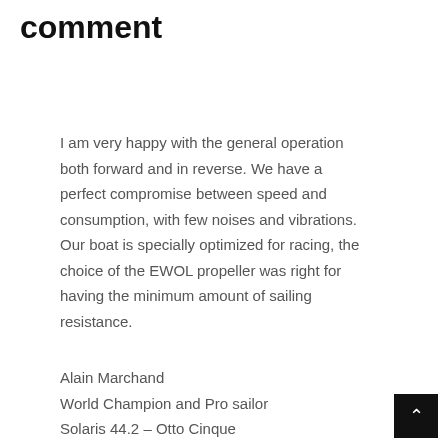comment
I am very happy with the general operation both forward and in reverse. We have a perfect compromise between speed and consumption, with few noises and vibrations.
Our boat is specially optimized for racing, the choice of the EWOL propeller was right for having the minimum amount of sailing resistance.
Alain Marchand
World Champion and Pro sailor
Solaris 44.2 – Otto Cinque